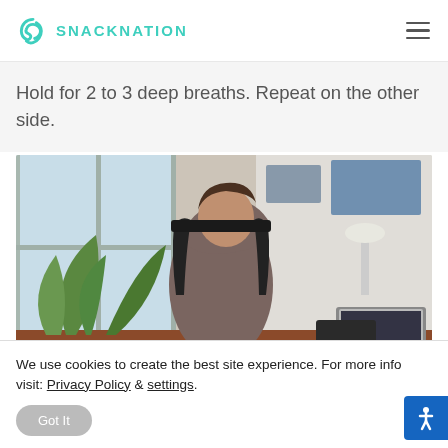SNACKNATION
Hold for 2 to 3 deep breaths. Repeat on the other side.
[Figure (photo): Person sitting in an office chair performing a shoulder stretch, with a laptop and indoor plant visible in the background]
We use cookies to create the best site experience. For more info visit: Privacy Policy & settings.
Got It